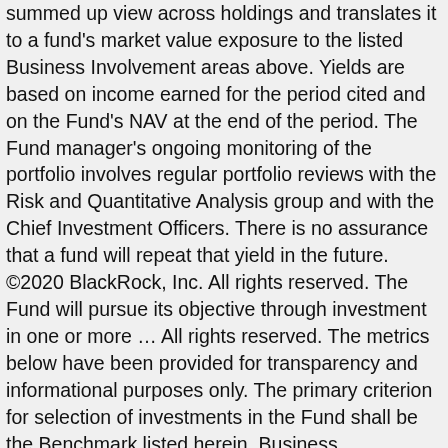summed up view across holdings and translates it to a fund's market value exposure to the listed Business Involvement areas above. Yields are based on income earned for the period cited and on the Fund's NAV at the end of the period. The Fund manager's ongoing monitoring of the portfolio involves regular portfolio reviews with the Risk and Quantitative Analysis group and with the Chief Investment Officers. There is no assurance that a fund will repeat that yield in the future. ©2020 BlackRock, Inc. All rights reserved. The Fund will pursue its objective through investment in one or more … All rights reserved. The metrics below have been provided for transparency and informational purposes only. The primary criterion for selection of investments in the Fund shall be the Benchmark listed herein. Business Involvement metrics are calculated by BlackRock using data from MSCI ESG Research which provides a profile of each company's specific business involvement. Fund … The Fund is an index fund that invests in equity securities of companies that comprise the Index. The Fund is an index fund that invests in equity securities of companies that comprise the Index. Mr. Mason's